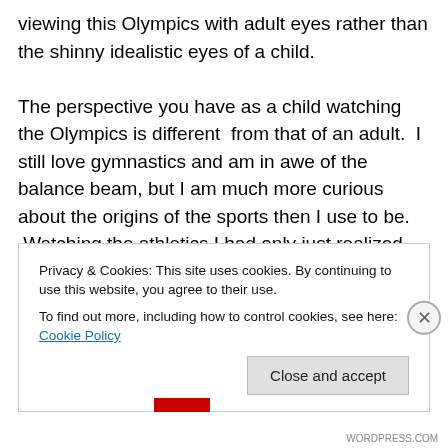viewing this Olympics with adult eyes rather than the shinny idealistic eyes of a child.

The perspective you have as a child watching the Olympics is different  from that of an adult.  I still love gymnastics and am in awe of the balance beam, but I am much more curious about the origins of the sports then I use to be.  Watching the athletics I had only just realized that these games (high jump, pole vault, javelin, etc) are based on war tactics and training for battle.  So pretty much each country is putting the capabilities of their army
Privacy & Cookies: This site uses cookies. By continuing to use this website, you agree to their use.
To find out more, including how to control cookies, see here: Cookie Policy
WORDPRESS.COM